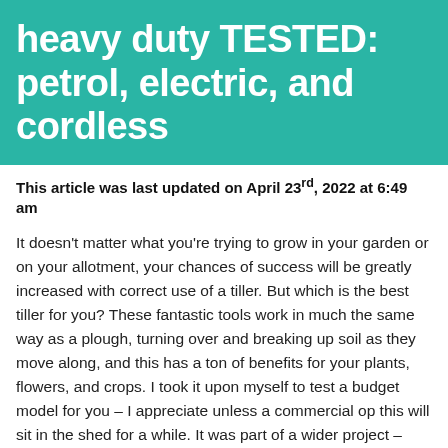heavy duty TESTED: petrol, electric, and cordless
This article was last updated on April 23rd, 2022 at 6:49 am
It doesn't matter what you're trying to grow in your garden or on your allotment, your chances of success will be greatly increased with correct use of a tiller. But which is the best tiller for you? These fantastic tools work in much the same way as a plough, turning over and breaking up soil as they move along, and this has a ton of benefits for your plants, flowers, and crops. I took it upon myself to test a budget model for you – I appreciate unless a commercial op this will sit in the shed for a while. It was part of a wider project – whilst I made a decision on what to do with the garden I wanted to get some grass seed down for the kids – this of course mean't I needed to turn the soil. So I decided to test the Vonhaus Tiller – it is the cheapest budget unit available